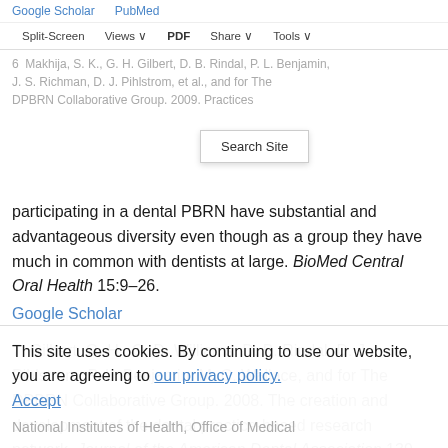Google Scholar   PubMed   Split-Screen   Views   PDF   Share   Tools   Search Site
6  Makhija, S. K., G. H. Gilbert, D. B. Rindal, P. L. Benjamin, J. S. Richman, D. J. Pihlstrom, et al., and for The DPBRN Collaborative Group. 2009. Practices participating in a dental PBRN have substantial and advantageous diversity even though as a group they have much in common with dentists at large. BioMed Central Oral Health 15:9–26.
Google Scholar
7  Gilbert, G. H., O. D. Williams, D. B. Rindal, D. J. Pihlstrom, P. L. Benjamin, M. C. Wallace, and for The DPBRN Collaborative Group. 2008. The creation and development of the dental practice-based research network. Journal of the American Dental Association 139
This site uses cookies. By continuing to use our website, you are agreeing to our privacy policy. Accept
National Institutes of Health, Office of Medical